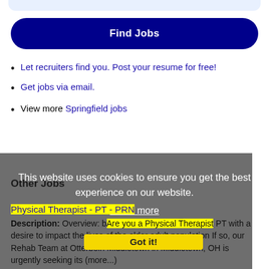[Figure (other): Partial top blue-gray rounded bar at top of page]
Find Jobs
Let recruiters find you. Post your resume for free!
Get jobs via email.
View more Springfield jobs
This website uses cookies to ensure you get the best experience on our website.
Learn more
Other Jobs
Got it!
Physical Therapist - PT - PRN
Description: Overview: bAre you a Physical Therapist PT with a desire to impact the lives of the older adult population If so, our Rehab Team at Otterbein Middletown in Middletown, OH is urgently seeking its (more...)